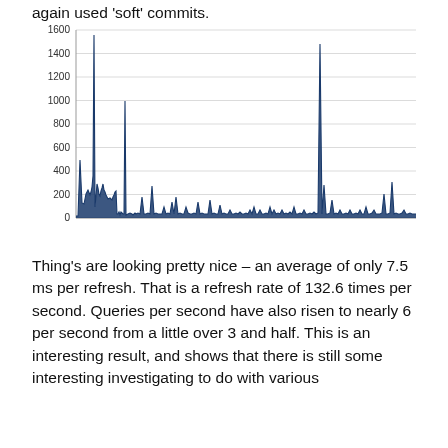again used 'soft' commits.
[Figure (continuous-plot): Line/spike chart showing response time values (ms) over a series of measurements. Y-axis ranges from 0 to 1600 with gridlines at 200 intervals. The chart shows mostly low values near 0 with prominent spikes: a large spike around 1520 early on, a spike around 560, and a spike around 1380 later. Many smaller spikes of 50-150 are scattered throughout.]
Thing's are looking pretty nice – an average of only 7.5 ms per refresh. That is a refresh rate of 132.6 times per second. Queries per second have also risen to nearly 6 per second from a little over 3 and half. This is an interesting result, and shows that there is still some interesting investigating to do with various